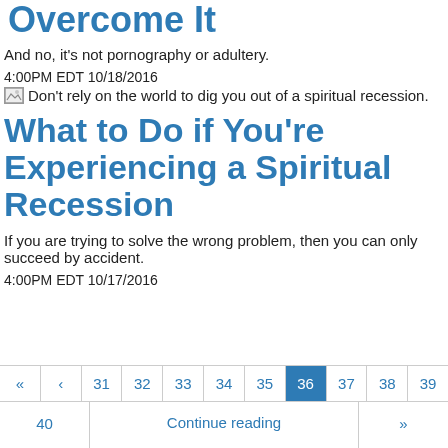Men Face — And How to Overcome It
And no, it's not pornography or adultery.
4:00PM EDT 10/18/2016
[Figure (photo): Don't rely on the world to dig you out of a spiritual recession.]
What to Do if You're Experiencing a Spiritual Recession
If you are trying to solve the wrong problem, then you can only succeed by accident.
4:00PM EDT 10/17/2016
« ‹ 31 32 33 34 35 36 37 38 39 40 Continue reading »